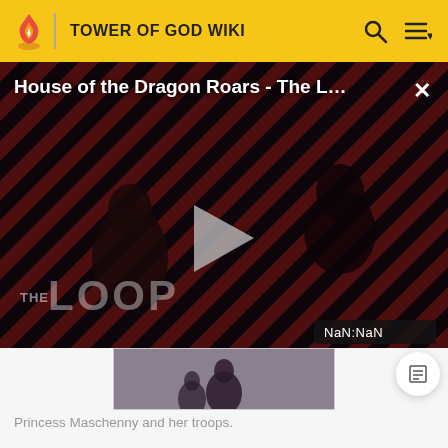TOWER OF GOD WIKI
[Figure (screenshot): Video player showing 'House of the Dragon Roars - The L...' with a play button, diagonal stripe background in dark red and black, silhouette figures, 'THE LOOP' watermark, and NaN:NaN timestamp badge. A close (X) button appears top right.]
[Figure (photo): Thumbnail image of Princess Maschenny and her troops at bottom of video area]
Princess Maschenny and her troops.
After Zahard gave out his three orders, Maschenny and her troops went to the 91st Floor and engaged in combat with Ha Jinsung. She tricked her troops into thinking they